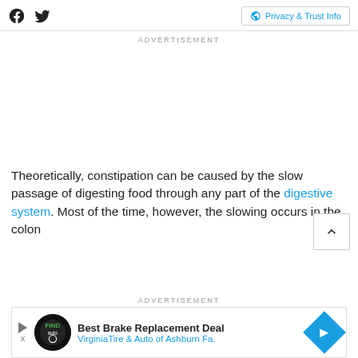Facebook Twitter Privacy & Trust Info
ADVERTISEMENT
Theoretically, constipation can be caused by the slow passage of digesting food through any part of the digestive system. Most of the time, however, the slowing occurs in the colon
ADVERTISEMENT
[Figure (other): Best Brake Replacement Deal - VirginiaTire & Auto of Ashburn Fa. advertisement banner with logo and blue diamond arrow icon]